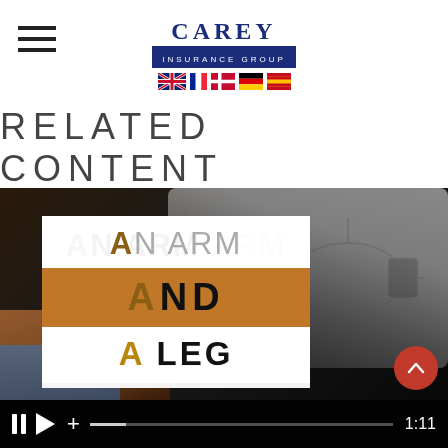[Figure (logo): Carey Insurance Group logo with flags for UK, France, Denmark, Germany, Spain]
RELATED CONTENT
[Figure (screenshot): Video player showing a thumbnail of 'An Arm and a Leg' video with play/pause controls and 1:11 timestamp. The thumbnail shows hands drawing on a tablet with a white overlay card reading 'AN ARM AND A LEG'. An orange circle highlight on AND. Red scroll-up button visible.]